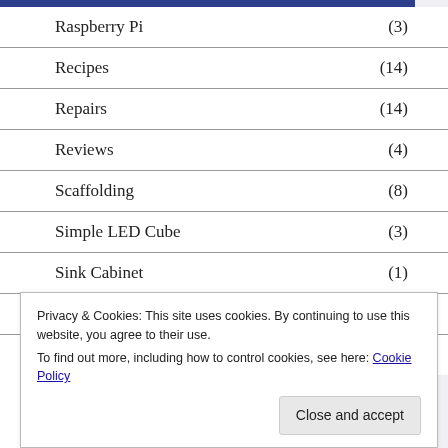Raspberry Pi (3)
Recipes (14)
Repairs (14)
Reviews (4)
Scaffolding (8)
Simple LED Cube (3)
Sink Cabinet (1)
Tear Downs (3)
Techniques (4)
Privacy & Cookies: This site uses cookies. By continuing to use this website, you agree to their use.
To find out more, including how to control cookies, see here: Cookie Policy
Close and accept